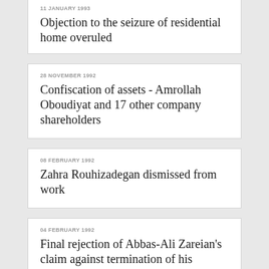11 JANUARY 1993
Objection to the seizure of residential home overuled
28 NOVEMBER 1992
Confiscation of assets - Amrollah Oboudiyat and 17 other company shareholders
08 FEBRUARY 1992
Zahra Rouhizadegan dismissed from work
04 FEBRUARY 1992
Final rejection of Abbas-Ali Zareian's claim against termination of his employment and pension
18 SEPTEMBER 1991
Confiscation of Sefidvash family's assets